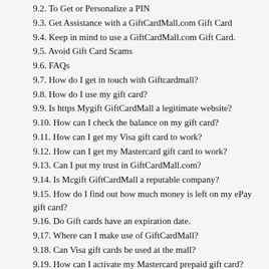9.2. To Get or Personalize a PIN
9.3. Get Assistance with a GiftCardMall.com Gift Card
9.4. Keep in mind to use a GiftCardMall.com Gift Card.
9.5. Avoid Gift Card Scams
9.6. FAQs
9.7. How do I get in touch with Giftcardmall?
9.8. How do I use my gift card?
9.9. Is https Mygift GiftCardMall a legitimate website?
9.10. How can I check the balance on my gift card?
9.11. How can I get my Visa gift card to work?
9.12. How can I get my Mastercard gift card to work?
9.13. Can I put my trust in GiftCardMall.com?
9.14. Is Mcgift GiftCardMall a reputable company?
9.15. How do I find out how much money is left on my ePay gift card?
9.16. Do Gift cards have an expiration date.
9.17. Where can I make use of GiftCardMall?
9.18. Can Visa gift cards be used at the mall?
9.19. How can I activate my Mastercard prepaid gift card?
9.20. Where can I make use of GiftCardMall?
9.21. How long does it take to receive a Gift Card Mall gift card?